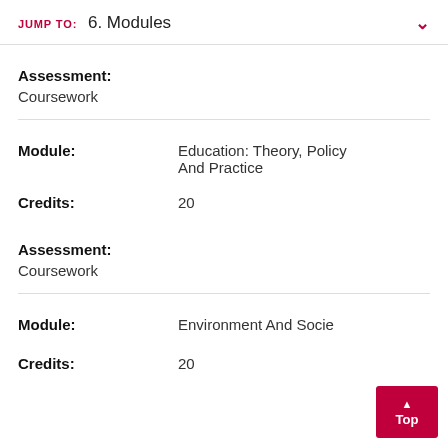JUMP TO: 6. Modules
Assessment:
Coursework
Module: Education: Theory, Policy And Practice
Credits: 20
Assessment:
Coursework
Module: Environment And Socie...
Credits: 20